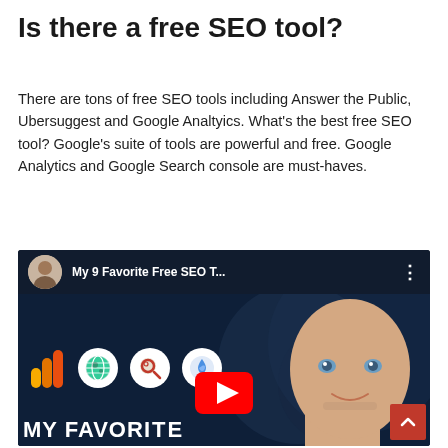Is there a free SEO tool?
There are tons of free SEO tools including Answer the Public, Ubersuggest and Google Analtyics. What's the best free SEO tool? Google's suite of tools are powerful and free. Google Analytics and Google Search console are must-haves.
[Figure (screenshot): YouTube video thumbnail titled 'My 9 Favorite Free SEO T...' showing a bald man smiling, with various SEO tool icons (Google Analytics, a globe icon, a search icon, a flame/data icon), a red YouTube play button, and the text 'MY FAVORITE' at the bottom. A red scroll-to-top arrow button appears in the bottom right corner.]